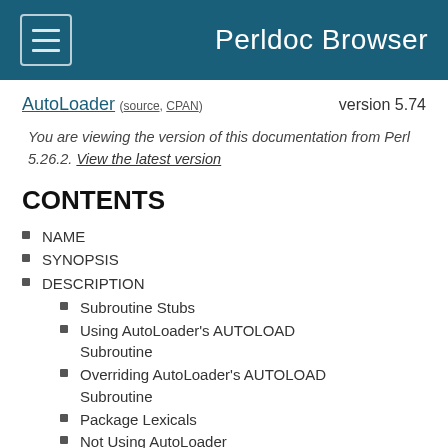Perldoc Browser
AutoLoader (source, CPAN)   version 5.74
You are viewing the version of this documentation from Perl 5.26.2. View the latest version
CONTENTS
NAME
SYNOPSIS
DESCRIPTION
Subroutine Stubs
Using AutoLoader's AUTOLOAD Subroutine
Overriding AutoLoader's AUTOLOAD Subroutine
Package Lexicals
Not Using AutoLoader
AutoLoader vs. SelfLoader